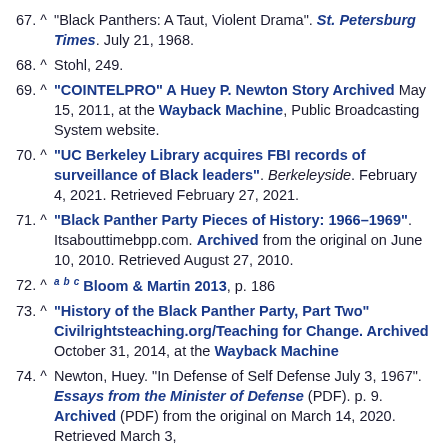67. ^ "Black Panthers: A Taut, Violent Drama". St. Petersburg Times. July 21, 1968.
68. ^ Stohl, 249.
69. ^ "COINTELPRO" A Huey P. Newton Story Archived May 15, 2011, at the Wayback Machine, Public Broadcasting System website.
70. ^ "UC Berkeley Library acquires FBI records of surveillance of Black leaders". Berkeleyside. February 4, 2021. Retrieved February 27, 2021.
71. ^ "Black Panther Party Pieces of History: 1966–1969". Itsabouttimebpp.com. Archived from the original on June 10, 2010. Retrieved August 27, 2010.
72. ^ a b c Bloom & Martin 2013, p. 186
73. ^ "History of the Black Panther Party, Part Two" Civilrightsteaching.org/Teaching for Change. Archived October 31, 2014, at the Wayback Machine
74. ^ Newton, Huey. "In Defense of Self Defense July 3, 1967". Essays from the Minister of Defense (PDF). p. 9. Archived (PDF) from the original on March 14, 2020. Retrieved March 3,